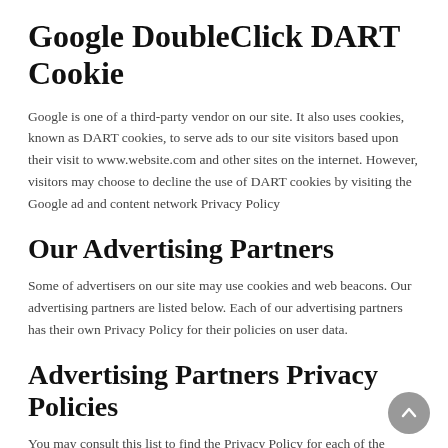Google DoubleClick DART Cookie
Google is one of a third-party vendor on our site. It also uses cookies, known as DART cookies, to serve ads to our site visitors based upon their visit to www.website.com and other sites on the internet. However, visitors may choose to decline the use of DART cookies by visiting the Google ad and content network Privacy Policy
Our Advertising Partners
Some of advertisers on our site may use cookies and web beacons. Our advertising partners are listed below. Each of our advertising partners has their own Privacy Policy for their policies on user data.
Advertising Partners Privacy Policies
You may consult this list to find the Privacy Policy for each of the advertising partners of erotic-tour.